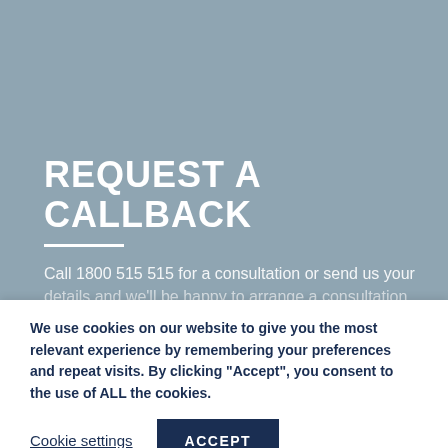REQUEST A CALLBACK
Call 1800 515 515 for a consultation or send us your details and we'll be happy to arrange a consultation
We use cookies on our website to give you the most relevant experience by remembering your preferences and repeat visits. By clicking “Accept”, you consent to the use of ALL the cookies.
Cookie settings
ACCEPT